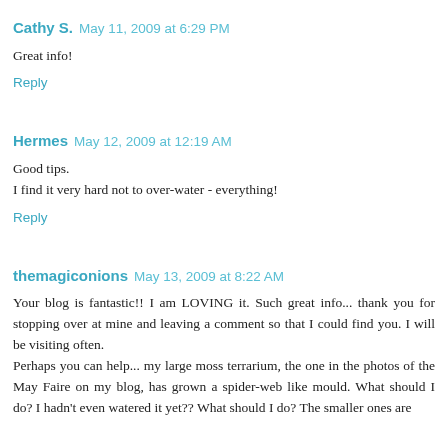Cathy S.  May 11, 2009 at 6:29 PM
Great info!
Reply
Hermes  May 12, 2009 at 12:19 AM
Good tips.
I find it very hard not to over-water - everything!
Reply
themagiconions  May 13, 2009 at 8:22 AM
Your blog is fantastic!! I am LOVING it. Such great info... thank you for stopping over at mine and leaving a comment so that I could find you. I will be visiting often.
Perhaps you can help... my large moss terrarium, the one in the photos of the May Faire on my blog, has grown a spider-web like mould. What should I do? I hadn't even watered it yet?? What should I do? The smaller ones are